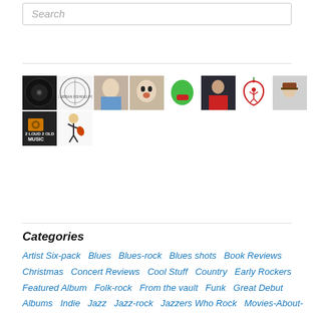Search
[Figure (screenshot): Grid of 10 music blog avatar/thumbnail images arranged in two rows]
Categories
Artist Six-pack  Blues  Blues-rock  Blues shots  Book Reviews  Christmas  Concert Reviews  Cool Stuff  Country  Early Rockers  Featured Album  Folk-rock  From the vault  Funk  Great Debut Albums  Indie  Jazz  Jazz-rock  Jazzers Who Rock  Movies-About-Music  Multi-Post-Series  Music Industry  New Wave  One Song/Three-Versions  Pop  Prog-rock  Punk  R&B  Random